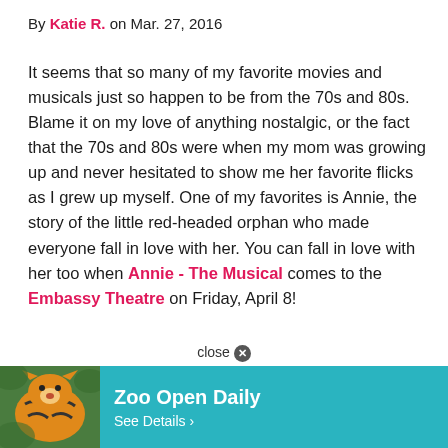By Katie R. on Mar. 27, 2016
It seems that so many of my favorite movies and musicals just so happen to be from the 70s and 80s. Blame it on my love of anything nostalgic, or the fact that the 70s and 80s were when my mom was growing up and never hesitated to show me her favorite flicks as I grew up myself. One of my favorites is Annie, the story of the little red-headed orphan who made everyone fall in love with her. You can fall in love with her too when Annie - The Musical comes to the Embassy Theatre on Friday, April 8!
There [partially obscured] cal and th [partially obscured] sm
[Figure (other): Advertisement overlay showing a zoo ad with a tiger image, teal background, text 'Zoo Open Daily' and 'See Details >', with a close button above]